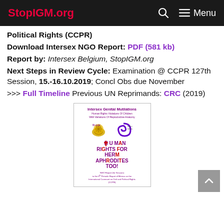StopIGM.org | Menu
Political Rights (CCPR)
Download Intersex NGO Report: PDF (581 kb)
Report by: Intersex Belgium, StopIGM.org
Next Steps in Review Cycle: Examination @ CCPR 127th Session, 15.-16.10.2019; Concl Obs due November
>>> Full Timeline Previous UN Reprimands: CRC (2019)
[Figure (photo): Cover image of NGO report titled 'Intersex Genital Mutilations: Human Rights Violations Of Children With Variations Of Reproductive Anatomy', showing organization logos and 'HUMAN RIGHTS FOR HERMAPHRODITES TOO!' text, NGO Report for Session to the 6th Periodic Report of Mexico on the International Covenant on Civil and Political Rights (CCPR).]